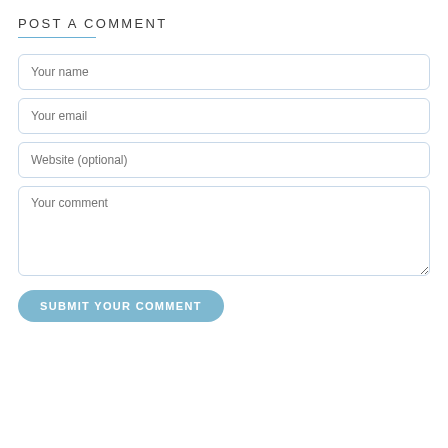POST A COMMENT
Your name
Your email
Website (optional)
Your comment
SUBMIT YOUR COMMENT